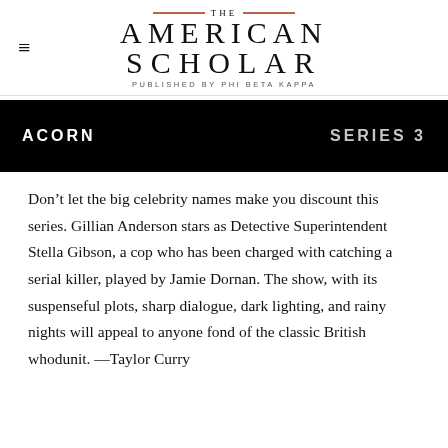THE AMERICAN SCHOLAR — PUBLISHED BY PHI BETA KAPPA
[Figure (screenshot): Black banner image showing 'ACORN' on the left and 'SERIES 3' on the right in white/grey text on black background]
Don't let the big celebrity names make you discount this series. Gillian Anderson stars as Detective Superintendent Stella Gibson, a cop who has been charged with catching a serial killer, played by Jamie Dornan. The show, with its suspenseful plots, sharp dialogue, dark lighting, and rainy nights will appeal to anyone fond of the classic British whodunit. —Taylor Curry